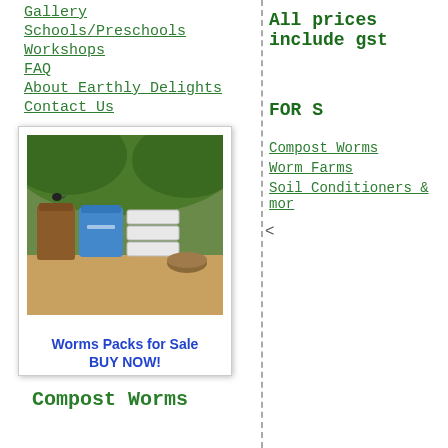Gallery
Schools/Preschools
Workshops
FAQ
About Earthly Delights
Contact Us
[Figure (photo): Polaroid-style photo of worm farm products on a table with handwritten text 'Worms Packs for Sale BUY NOW!']
All prices include gst
FOR S
Compost Worms
Worm Farms
Soil Conditioners & mor
<
Compost Worms